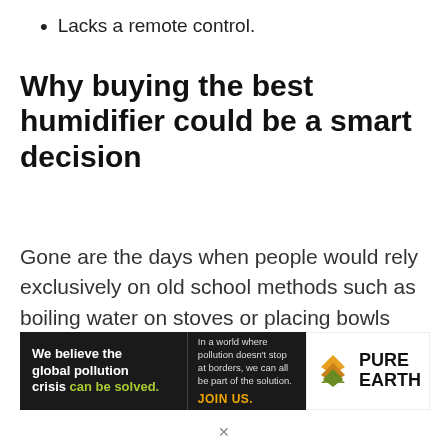Lacks a remote control.
Why buying the best humidifier could be a smart decision
Gone are the days when people would rely exclusively on old school methods such as boiling water on stoves or placing bowls (full of water) in strategic locations to increase humidity
[Figure (other): Advertisement banner for Pure Earth. Left black panel reads 'We believe the global pollution crisis can be solved.' Middle black panel reads 'In a world where pollution doesn't stop at borders, we can all be part of the solution. JOIN US.' Right white panel shows Pure Earth logo with diamond/leaf icon and text PURE EARTH.]